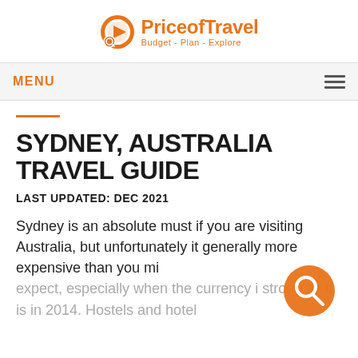[Figure (logo): Price of Travel logo with orange circular icon and text 'PriceofTravel' with tagline 'Budget - Plan - Explore']
MENU
SYDNEY, AUSTRALIA TRAVEL GUIDE
LAST UPDATED: DEC 2021
Sydney is an absolute must if you are visiting Australia, but unfortunately it generally more expensive than you mi expect, especially when the currency i strong as it is in 2014. Hostels and hotel